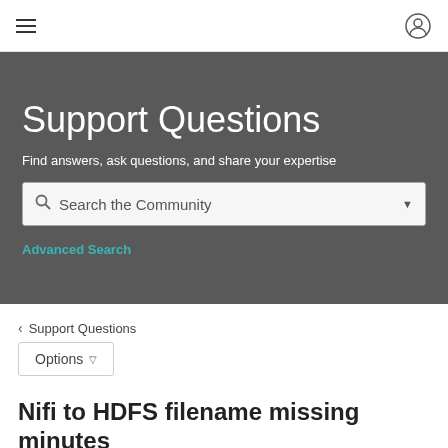≡  [user icon]
Support Questions
Find answers, ask questions, and share your expertise
Search the Community
Advanced Search
< Support Questions
Options
Nifi to HDFS filename missing minutes